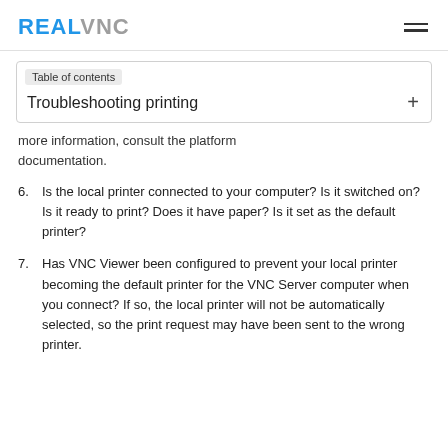RealVNC
Table of contents
Troubleshooting printing
more information, consult the platform documentation.
6. Is the local printer connected to your computer? Is it switched on? Is it ready to print? Does it have paper? Is it set as the default printer?
7. Has VNC Viewer been configured to prevent your local printer becoming the default printer for the VNC Server computer when you connect? If so, the local printer will not be automatically selected, so the print request may have been sent to the wrong printer.